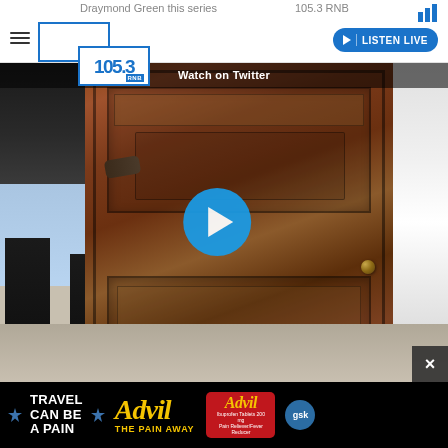Draymond Green this series | 105.3 RNB
105.3 RNB | LISTEN LIVE
Watch on Twitter
[Figure (screenshot): Video thumbnail showing a person in light blue shorts and red sneakers moving a large ornate wooden door/furniture piece, with a circular blue play button overlay in the center]
[Figure (photo): Advertisement banner: TRAVEL CAN BE A PAIN | Advil THE PAIN AWAY with Advil product box and GSK logo]